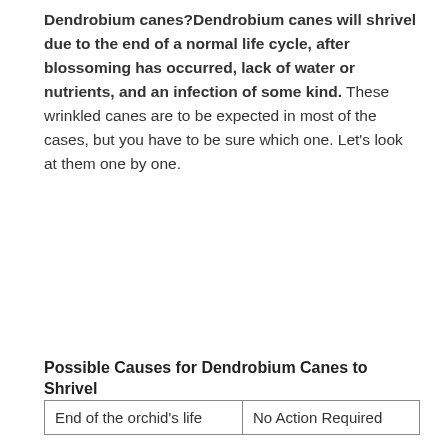Dendrobium canes?Dendrobium canes will shrivel due to the end of a normal life cycle, after blossoming has occurred, lack of water or nutrients, and an infection of some kind. These wrinkled canes are to be expected in most of the cases, but you have to be sure which one. Let's look at them one by one.
Possible Causes for Dendrobium Canes to Shrivel
| End of the orchid's life | No Action Required |